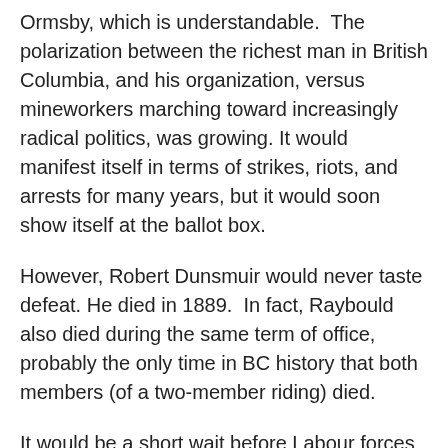Ormsby, which is understandable. The polarization between the richest man in British Columbia, and his organization, versus mineworkers marching toward increasingly radical politics, was growing. It would manifest itself in terms of strikes, riots, and arrests for many years, but it would soon show itself at the ballot box.
However, Robert Dunsmuir would never taste defeat. He died in 1889. In fact, Raybould also died during the same term of office, probably the only time in BC history that both members (of a two-member riding) died.
It would be a short wait before Labour forces made their mark at the ballot box. And it wasn't the end of the Dunsmuirs in politics either.